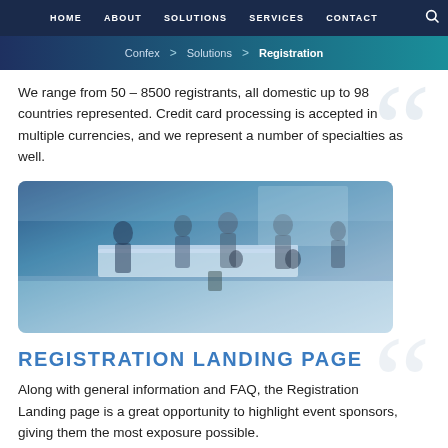HOME  ABOUT  SOLUTIONS  SERVICES  CONTACT
Confex > Solutions > Registration
We range from 50 – 8500 registrants, all domestic up to 98 countries represented. Credit card processing is accepted in multiple currencies, and we represent a number of specialties as well.
[Figure (photo): Conference registration area with attendees checking in at a reception desk in a modern venue, blue-toned photography]
REGISTRATION LANDING PAGE
Along with general information and FAQ, the Registration Landing page is a great opportunity to highlight event sponsors, giving them the most exposure possible.
Highlighting the benefits of attending makes it easy for